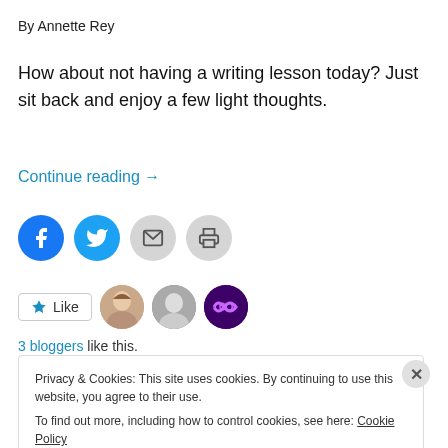By Annette Rey
How about not having a writing lesson today? Just sit back and enjoy a few light thoughts.
Continue reading →
[Figure (infographic): Row of four circular share buttons: Facebook (blue), Twitter (blue), Email (grey), Print (grey)]
[Figure (infographic): Like button with star icon and three blogger avatar thumbnails]
3 bloggers like this.
Privacy & Cookies: This site uses cookies. By continuing to use this website, you agree to their use. To find out more, including how to control cookies, see here: Cookie Policy
Close and accept